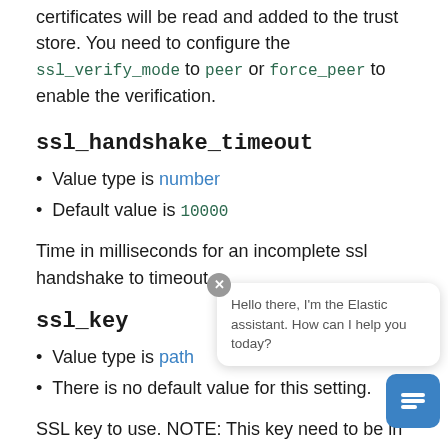You can define multiple files or paths. All the certificates will be read and added to the trust store. You need to configure the ssl_verify_mode to peer or force_peer to enable the verification.
ssl_handshake_timeout
Value type is number
Default value is 10000
Time in milliseconds for an incomplete ssl handshake to timeout
ssl_key
Value type is path
There is no default value for this setting.
SSL key to use. NOTE: This key need to be in the